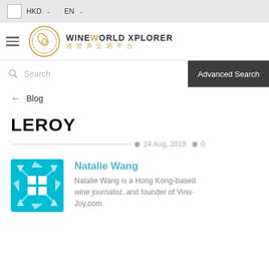HKD  EN
[Figure (logo): WineWorld Xplorer logo with circular icon and Chinese text 酒世界交易平台]
Search   Advanced Search
← Blog
LEROY
24 Aug, 2019  0
[Figure (illustration): Cyan snowflake/geometric avatar icon for Natalie Wang]
Natalie Wang
Natalie Wang is a Hong Kong-based wine journalist, and founder of Vino-Joy.com.